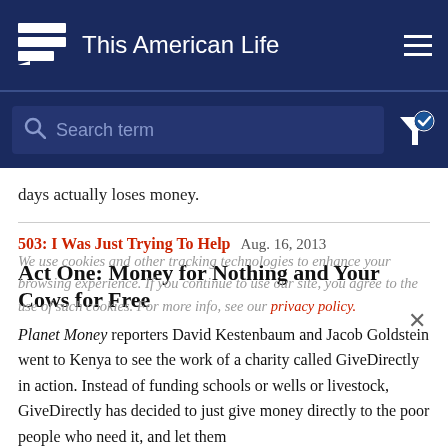This American Life
[Figure (screenshot): Search bar with placeholder 'Search term' and filter icon with checkmark on dark navy background]
days actually loses money.
503: I Was Just Trying To Help  Aug. 16, 2013
Act One: Money for Nothing and Your Cows for Free
Planet Money reporters David Kestenbaum and Jacob Goldstein went to Kenya to see the work of a charity called GiveDirectly in action. Instead of funding schools or wells or livestock, GiveDirectly has decided to just give money directly to the poor people who need it, and let them
We use cookies and other tracking technologies to enhance your browsing experience. If you continue to use our site, you agree to the use of such cookies. For more info, see our privacy policy.